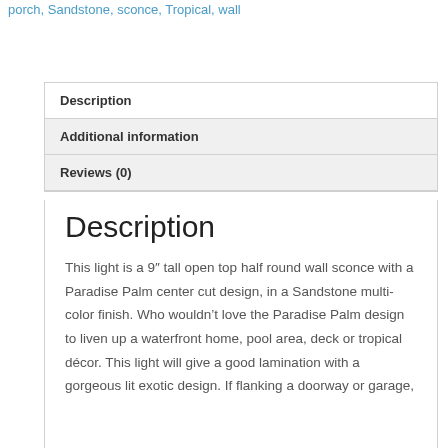porch, Sandstone, sconce, Tropical, wall
| Description |
| Additional information |
| Reviews (0) |
Description
This light is a 9″ tall open top half round wall sconce with a Paradise Palm center cut design, in a Sandstone multi-color finish. Who wouldn’t love the Paradise Palm design to liven up a waterfront home, pool area, deck or tropical décor. This light will give a good lamination with a gorgeous lit exotic design. If flanking a doorway or garage,